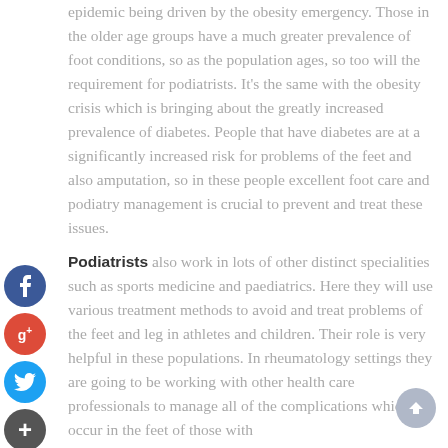epidemic being driven by the obesity emergency. Those in the older age groups have a much greater prevalence of foot conditions, so as the population ages, so too will the requirement for podiatrists. It's the same with the obesity crisis which is bringing about the greatly increased prevalence of diabetes. People that have diabetes are at a significantly increased risk for problems of the feet and also amputation, so in these people excellent foot care and podiatry management is crucial to prevent and treat these issues.
Podiatrists also work in lots of other distinct specialities such as sports medicine and paediatrics. Here they will use various treatment methods to avoid and treat problems of the feet and leg in athletes and children. Their role is very helpful in these populations. In rheumatology settings they are going to be working with other health care professionals to manage all of the complications which occur in the feet of those with